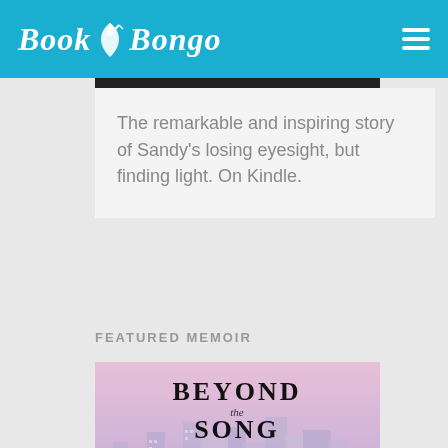Book Bongo
The remarkable and inspiring story of Sandy's losing eyesight, but finding light. On Kindle.
FEATURED MEMOIR
[Figure (photo): Book cover for 'Beyond the Song' showing a girl with dark hair and headphones against a pink and purple city skyline background]